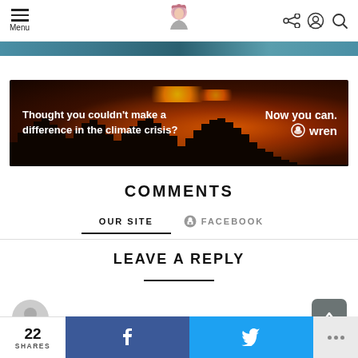Menu | [logo] | [share icon] [account icon] [search icon]
[Figure (screenshot): Top partial image strip showing a blue-teal image banner]
[Figure (photo): Advertisement banner: dark background with wildfire/forest fire image. Text: 'Thought you couldn't make a difference in the climate crisis? Now you can. wren']
COMMENTS
OUR SITE   FACEBOOK
LEAVE A REPLY
[Figure (illustration): Gray circular avatar placeholder icon]
[Figure (other): Gray scroll-to-top button with up arrow]
22 SHARES
f (Facebook share button)
Twitter share button
... (more share options)